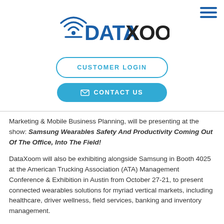[Figure (logo): DataXoom logo with wifi/signal icon]
CUSTOMER LOGIN
✉ CONTACT US
Marketing & Mobile Business Planning, will be presenting at the show: Samsung Wearables Safety And Productivity Coming Out Of The Office, Into The Field!
DataXoom will also be exhibiting alongside Samsung in Booth 4025 at the American Trucking Association (ATA) Management Conference & Exhibition in Austin from October 27-21, to present connected wearables solutions for myriad vertical markets, including healthcare, driver wellness, field services, banking and inventory management.